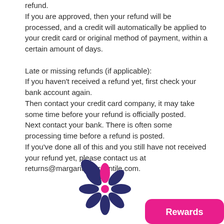refund.
If you are approved, then your refund will be processed, and a credit will automatically be applied to your credit card or original method of payment, within a certain amount of days.

Late or missing refunds (if applicable):
If you haven't received a refund yet, first check your bank account again.
Then contact your credit card company, it may take some time before your refund is officially posted.
Next contact your bank. There is often some processing time before a refund is posted.
If you've done all of this and you still have not received your refund yet, please contact us at returns@margaritamercantile.com.
[Figure (logo): Margarita Mercantile flower logo — dark navy blue daisy/flower shape with a bright pink teardrop-shaped top petal, centered at bottom of page]